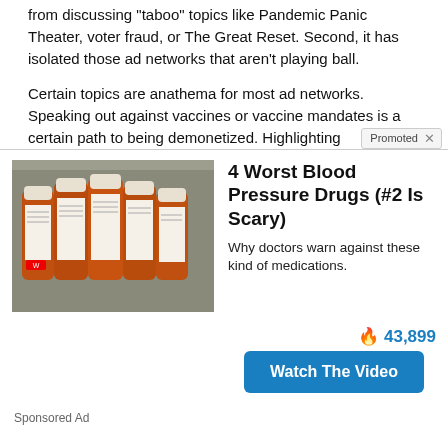from discussing “taboo” topics like Pandemic Panic Theater, voter fraud, or The Great Reset. Second, it has isolated those ad networks that aren’t playing ball.
Certain topics are anathema for most ad networks. Speaking out against vaccines or vaccine mandates is a certain path to being demonetized. Highlighting
[Figure (photo): Advertisement showing orange prescription medicine bottles and ad text: 4 Worst Blood Pressure Drugs (#2 Is Scary). Why doctors warn against these kind of medications. 43,899 Watch The Video. Promoted badge visible.]
Sponsored Ad